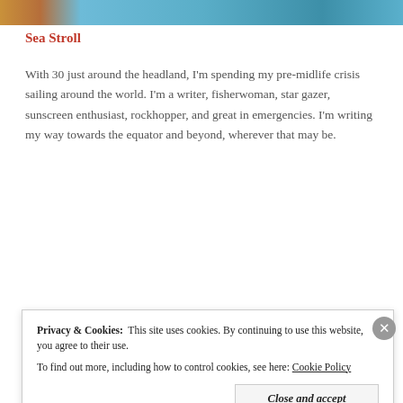[Figure (photo): Colorful photo strip showing a person in vibrant clothing against a blue water background]
Sea Stroll
With 30 just around the headland, I'm spending my pre-midlife crisis sailing around the world. I'm a writer, fisherwoman, star gazer, sunscreen enthusiast, rockhopper, and great in emergencies. I'm writing my way towards the equator and beyond, wherever that may be.
View Full Profile →
Privacy & Cookies:  This site uses cookies. By continuing to use this website, you agree to their use.
To find out more, including how to control cookies, see here: Cookie Policy
Close and accept